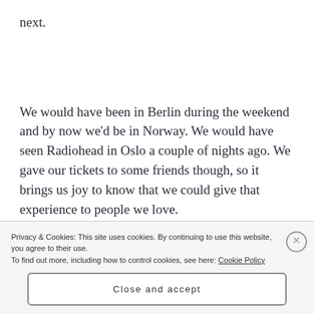next.
We would have been in Berlin during the weekend and by now we'd be in Norway. We would have seen Radiohead in Oslo a couple of nights ago. We gave our tickets to some friends though, so it brings us joy to know that we could give that experience to people we love.
Privacy & Cookies: This site uses cookies. By continuing to use this website, you agree to their use.
To find out more, including how to control cookies, see here: Cookie Policy
Close and accept